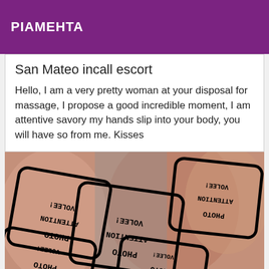PIAMEHTA
San Mateo incall escort
Hello, I am a very pretty woman at your disposal for massage, I propose a good incredible moment, I am attentive savory my hands slip into your body, you will have so from me. Kisses
[Figure (photo): Multiple overlapping photos with mirrored watermark stamps reading PHOTO VOLEE! ATTENTION in rounded rectangle borders, overlaid on a woman's face/skin background]